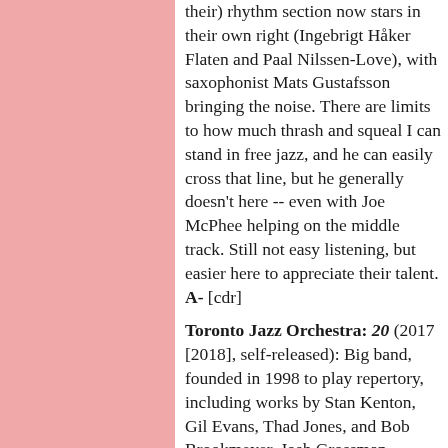their) rhythm section now stars in their own right (Ingebrigt Håker Flaten and Paal Nilssen-Love), with saxophonist Mats Gustafsson bringing the noise. There are limits to how much thrash and squeal I can stand in free jazz, and he can easily cross that line, but he generally doesn't here -- even with Joe McPhee helping on the middle track. Still not easy listening, but easier here to appreciate their talent. A- [cdr]
Toronto Jazz Orchestra: 20 (2017 [2018], self-released): Big band, founded in 1998 to play repertory, including works by Stan Kenton, Gil Evans, Thad Jones, and Bob Brookmeyer. Josh Grossman directs, and for their 20th anniversary wrote most of the material -- plus a cover of Brad Mehldau's arrangement of "Dear Prudence." B+(*) [cd]